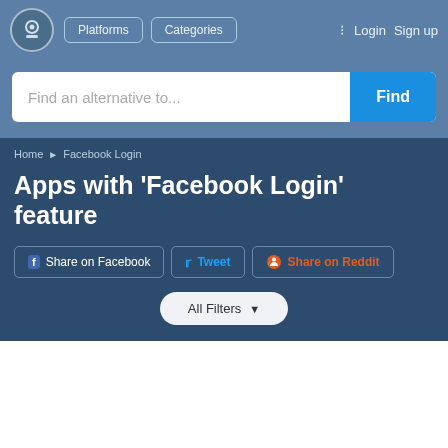Platforms  Categories  Login  Sign up
Find an alternative to...
Home ▶ Facebook Login
Apps with 'Facebook Login' feature
Share on Facebook  Tweet  Share on Reddit
All Filters